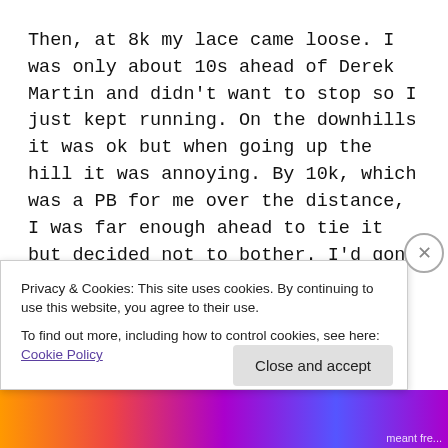Then, at 8k my lace came loose. I was only about 10s ahead of Derek Martin and didn't want to stop so I just kept running. On the downhills it was ok but when going up the hill it was annoying. By 10k, which was a PB for me over the distance, I was far enough ahead to tie it but decided not to bother. I'd gone this far! I was through 10k in 37:40 and knew I was on for a massive PB by this point. I pushed hard for the last few kms to
Privacy & Cookies: This site uses cookies. By continuing to use this website, you agree to their use.
To find out more, including how to control cookies, see here: Cookie Policy